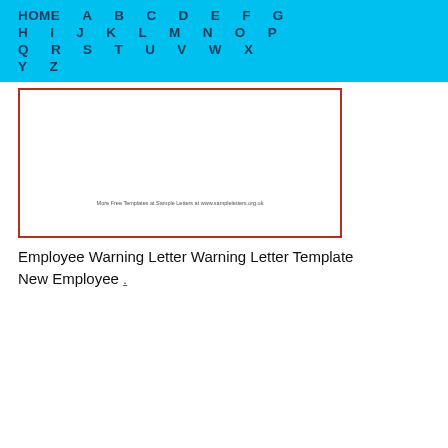HOME  A  B  C  D  E  F  G  H  I  J  K  L  M  N  O  P  Q  R  S  T  U  V  W  X  Y  Z
[Figure (other): Thumbnail preview of an employee warning letter document with a red border]
Employee Warning Letter Warning Letter Template New Employee .